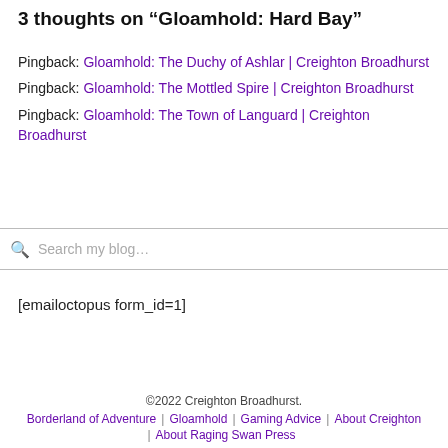3 thoughts on “Gloamhold: Hard Bay”
Pingback: Gloamhold: The Duchy of Ashlar | Creighton Broadhurst
Pingback: Gloamhold: The Mottled Spire | Creighton Broadhurst
Pingback: Gloamhold: The Town of Languard | Creighton Broadhurst
Search my blog…
[emailoctopus form_id=1]
©2022 Creighton Broadhurst. Borderland of Adventure | Gloamhold | Gaming Advice | About Creighton | About Raging Swan Press